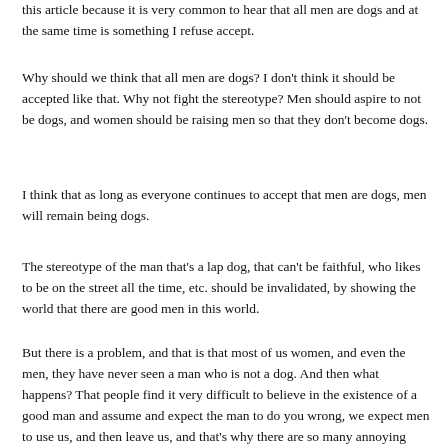this article because it is very common to hear that all men are dogs and at the same time is something I refuse accept.
Why should we think that all men are dogs? I don't think it should be accepted like that. Why not fight the stereotype? Men should aspire to not be dogs, and women should be raising men so that they don't become dogs.
I think that as long as everyone continues to accept that men are dogs, men will remain being dogs.
The stereotype of the man that's a lap dog, that can't be faithful, who likes to be on the street all the time, etc. should be invalidated, by showing the world that there are good men in this world.
But there is a problem, and that is that most of us women, and even the men, they have never seen a man who is not a dog. And then what happens? That people find it very difficult to believe in the existence of a good man and assume and expect the man to do you wrong, we expect men to use us, and then leave us, and that's why there are so many annoying women, always bitching and fighting, and